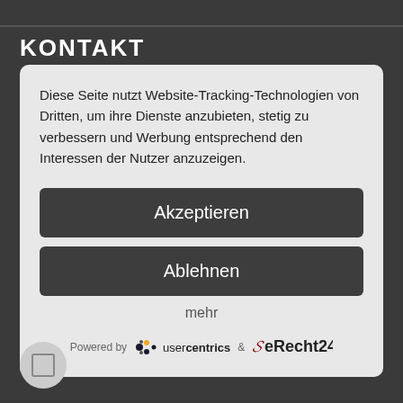KONTAKT
Diese Seite nutzt Website-Tracking-Technologien von Dritten, um ihre Dienste anzubieten, stetig zu verbessern und Werbung entsprechend den Interessen der Nutzer anzuzeigen.
Akzeptieren
Ablehnen
mehr
Powered by usercentrics & eRecht24